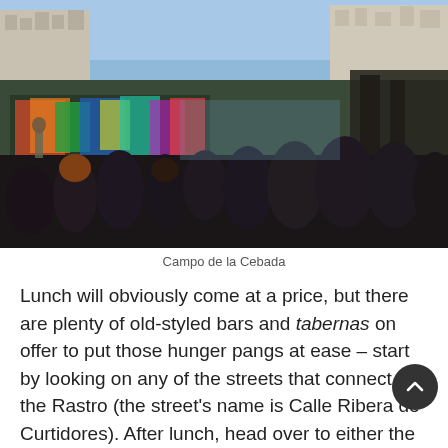[Figure (photo): Outdoor crowd of people watching a street musician perform against a graffiti-covered wall in Campo de la Cebada, Madrid. Buildings visible in background, sunny day.]
Campo de la Cebada
Lunch will obviously come at a price, but there are plenty of old-styled bars and tabernas on offer to put those hunger pangs at ease – start by looking on any of the streets that connect to the Rastro (the street's name is Calle Ribera de Curtidores). After lunch, head over to either the El Prado or La Reina Sofia galleries for